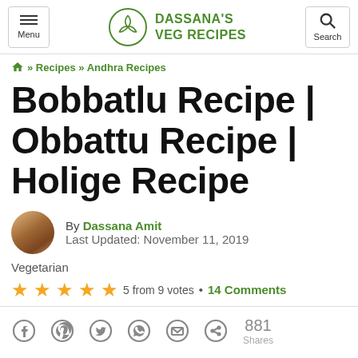DASSANA'S VEG RECIPES
» Recipes » Andhra Recipes
Bobbatlu Recipe | Obbattu Recipe | Holige Recipe
By Dassana Amit
Last Updated: November 11, 2019
Vegetarian
5 from 9 votes • 14 Comments
881 Shares